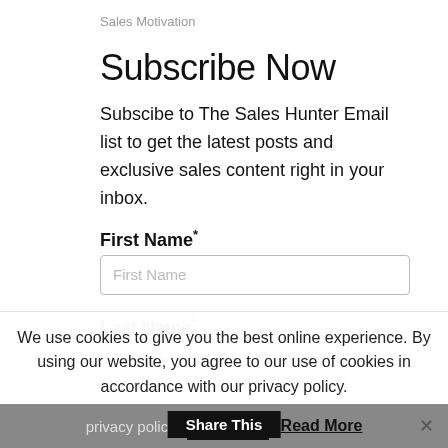Sales Motivation
Subscribe Now
Subscibe to The Sales Hunter Email list to get the latest posts and exclusive sales content right in your inbox.
First Name*
First Name
Last Name*
Last Name
We use cookies to give you the best online experience. By using our website, you agree to our use of cookies in accordance with our privacy policy.
Accept
Share This
Read More
×